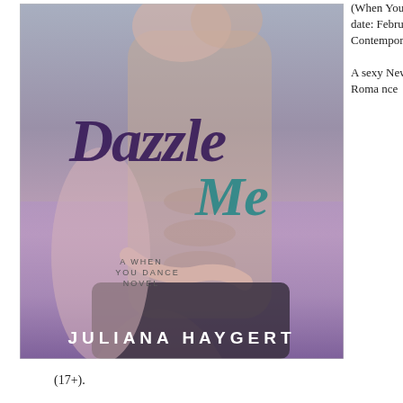[Figure (illustration): Book cover for 'Dazzle Me' by Juliana Haygert. Shows two people in a romantic embrace against a purple-grey background. 'Dazzle' is written in dark purple brush script, 'Me' in teal brush script. Subtitle reads 'A WHEN YOU DANCE NOVEL'. Author name 'JULIANA HAYGERT' at bottom in white uppercase letters.]
(When You Dance, #1) Publication date: February 13th 2017 Genres: Contemporary, New Adult, Romance

A sexy New Adult Contemporary Romance
(17+).